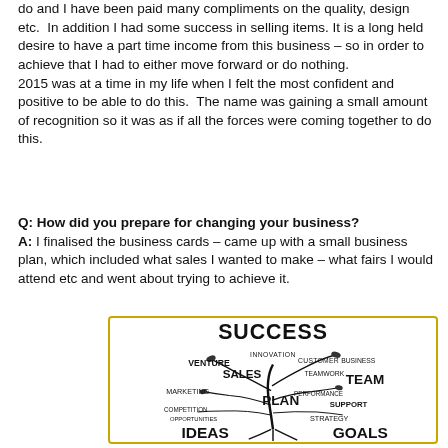do and I have been paid many compliments on the quality, design etc. In addition I had some success in selling items. It is a long held desire to have a part time income from this business – so in order to achieve that I had to either move forward or do nothing.
2015 was at a time in my life when I felt the most confident and positive to be able to do this. The name was gaining a small amount of recognition so it was as if all the forces were coming together to do this.
Q: How did you prepare for changing your business?
A: I finalised the business cards – came up with a small business plan, which included what sales I wanted to make – what fairs I would attend etc and went about trying to achieve it.
[Figure (illustration): A word-tree illustration with SUCCESS at the top, branching into business-related words: INNOVATION, VENTURE, CUSTOMER, BUSINESS, SALES, TEAMWORK, TEAM, MARKETING, PERFORMANCE, PLAN, COMPETITION, SUPPORT, OPPORTUNITIES, STRATEGY, IDEAS, GOALS]